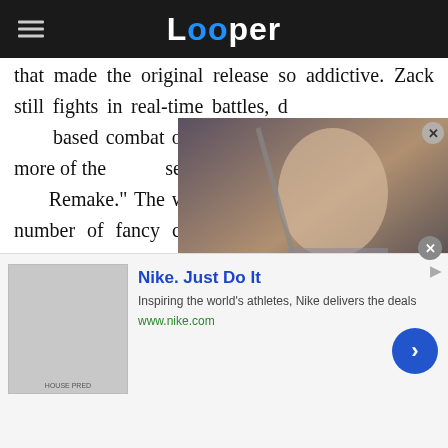Looper
that made the original release so addictive. Zack still fights in real-time battles, departing from the turn-based combat of the original, and engaging in more of the flashy combat seen in games like "Final Fantasy VII Remake." The warrior can be seen executing a number of fancy combos throughout the trailer, working his way up from SOLDIER grunts to horrifying monsters as he grows in strength.
[Figure (screenshot): Video thumbnail showing a blonde female warrior character with a sword, with a play button overlay]
[Figure (screenshot): Nike advertisement banner: Nike. Just Do It. Inspiring the world's athletes, Nike delivers the deals. www.nike.com]